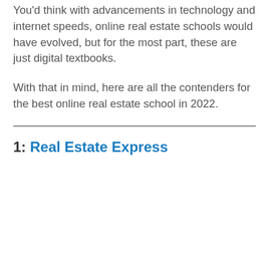You'd think with advancements in technology and internet speeds, online real estate schools would have evolved, but for the most part, these are just digital textbooks.
With that in mind, here are all the contenders for the best online real estate school in 2022.
1: Real Estate Express